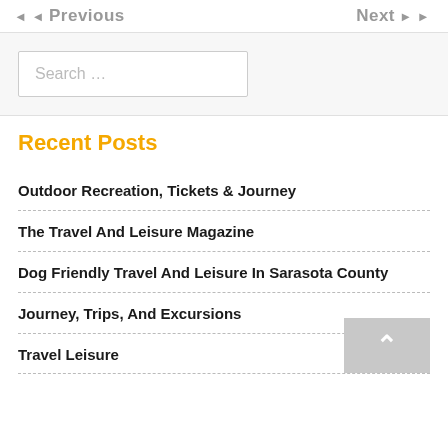Previous   Next
Search …
Recent Posts
Outdoor Recreation, Tickets & Journey
The Travel And Leisure Magazine
Dog Friendly Travel And Leisure In Sarasota County
Journey, Trips, And Excursions
Travel Leisure